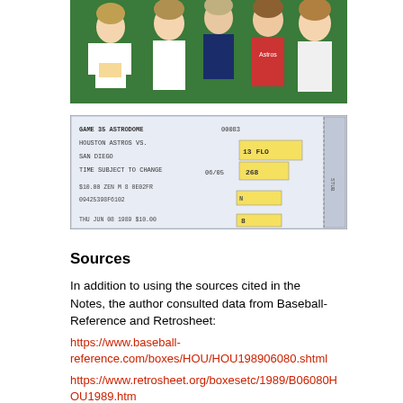[Figure (photo): Group photo of five young men standing together, wearing white t-shirts including Houston Astros shirts, in front of a green background.]
[Figure (photo): Houston Astros baseball ticket stub for Game 35 at Astrodome, Houston Astros vs. San Diego, dated THU JUN 08 1989, $10.00, section 13 FLO, row 268.]
Sources
In addition to using the sources cited in the Notes, the author consulted data from Baseball-Reference and Retrosheet:
https://www.baseball-reference.com/boxes/HOU/HOU198906080.shtml
https://www.retrosheet.org/boxesetc/1989/B06080HOU1989.htm